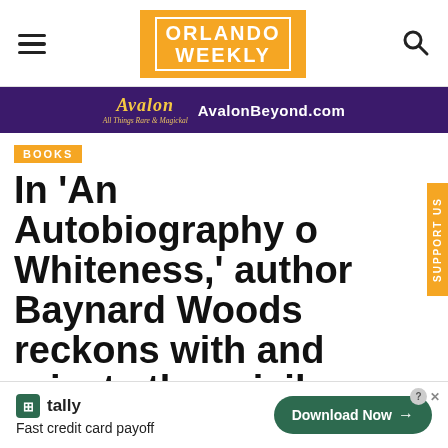Orlando Weekly
[Figure (other): Avalon – All Things Rare & Magickal – AvalonBeyond.com advertisement banner]
BOOKS
In 'An Autobiography of Whiteness,' author Baynard Woods reckons with and rejects the privilege of
[Figure (other): Tally – Fast credit card payoff advertisement with Download Now button]